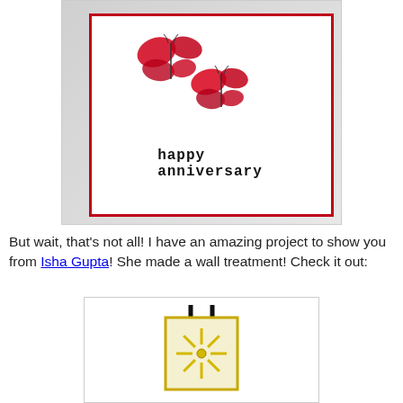[Figure (photo): A handmade greeting card with red butterflies and 'happy anniversary' stamped text, set against a light gray background. The card has a white front with red border and decorative butterfly embellishments.]
But wait, that's not all! I have an amazing project to show you from Isha Gupta! She made a wall treatment! Check it out:
[Figure (photo): A small decorative wall art piece with a black ribbon hanger, featuring a yellow/gold sunburst or radiating lines pattern on a white square tile with a gold border.]